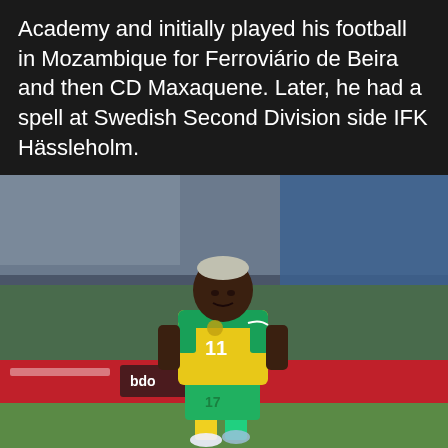Academy and initially played his football in Mozambique for Ferroviário de Beira and then CD Maxaquene. Later, he had a spell at Swedish Second Division side IFK Hässleholm.
[Figure (photo): A football player wearing a yellow and green South Africa national team jersey with number 11, running on a football pitch. There are stadium seats and a red advertising hoarding visible in the background.]